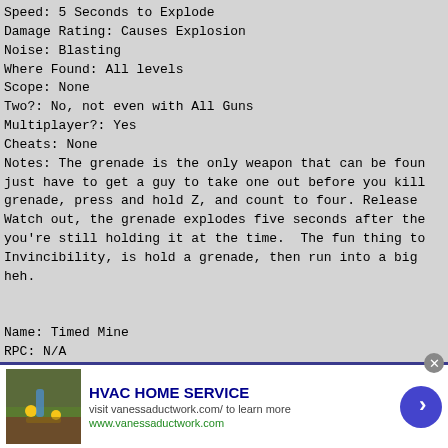Speed: 5 Seconds to Explode
Damage Rating: Causes Explosion
Noise: Blasting
Where Found: All levels
Scope: None
Two?: No, not even with All Guns
Multiplayer?: Yes
Cheats: None
Notes: The grenade is the only weapon that can be foun just have to get a guy to take one out before you kill grenade, press and hold Z, and count to four. Release Watch out, the grenade explodes five seconds after the you're still holding it at the time.  The fun thing to Invincibility, is hold a grenade, then run into a big heh.
Name: Timed Mine
RPC: N/A
Ammo Taken: Timed Mines
Speed: Explodes five seconds after thrown
Damage Rating: Causes Explosion
Noise: Blasting
[Figure (other): Infolinks advertisement banner for HVAC HOME SERVICE with a photo of gardening/landscaping, visit vanessaductwork.com/ to learn more, www.vanessaductwork.com, with a blue circular arrow button and close button]